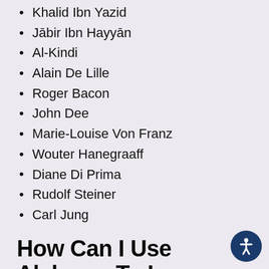Khalid Ibn Yazid
Jābir Ibn Hayyān
Al-Kindi
Alain De Lille
Roger Bacon
John Dee
Marie-Louise Von Franz
Wouter Hanegraaff
Diane Di Prima
Rudolf Steiner
Carl Jung
How Can I Use Alchemy To Improve My Life?
For some, alchemy offers a workable ideology and practical solution to alleviating fear, sadness, conflicts, and pain.